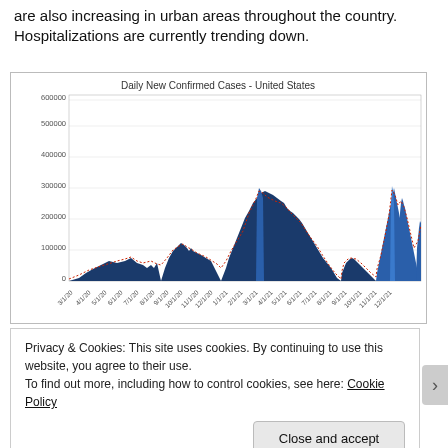are also increasing in urban areas throughout the country. Hospitalizations are currently trending down.
[Figure (bar-chart): Bar chart showing daily new confirmed COVID-19 cases in the United States from 3/1/20 to 12/10/21, with peaks around 1/1/21 (~300000) and 9/1/21 (~325000), and a rising trend at end of chart. Dark blue bars with a red dashed 7-day average line overlay.]
Privacy & Cookies: This site uses cookies. By continuing to use this website, you agree to their use.
To find out more, including how to control cookies, see here: Cookie Policy